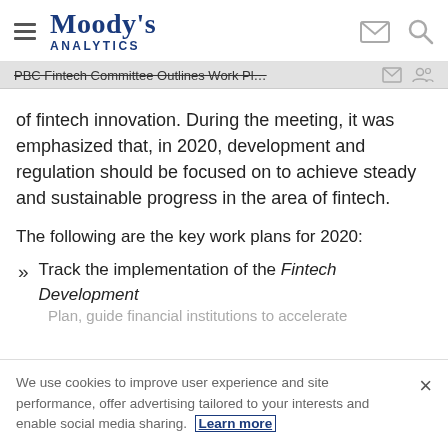Moody's Analytics
PBC Fintech Committee Outlines Work Pl…
of fintech innovation. During the meeting, it was emphasized that, in 2020, development and regulation should be focused on to achieve steady and sustainable progress in the area of fintech.
The following are the key work plans for 2020:
Track the implementation of the Fintech Development Plan, guide financial institutions to accelerate…
We use cookies to improve user experience and site performance, offer advertising tailored to your interests and enable social media sharing. Learn more